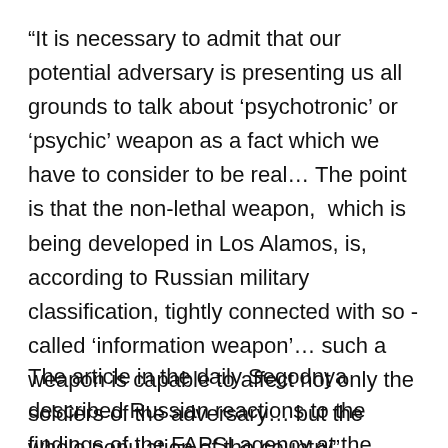“It is necessary to admit that our potential adversary is presenting us all grounds to talk about ‘psychotronic’ or ‘psychic’ weapon as a fact which we have to consider to be real… The point is that the non-lethal weapon,  which is being developed in Los Alamos, is, according to Russian military classification, tightly connected with so - called ‘information weapon’… such a weapon is capable to affect not only the soldiers of the adversary… but the whole population of the country”.
The article in the daily Segodnya described Russian reactions to the findings of the FAPSI agency at the international as well as national